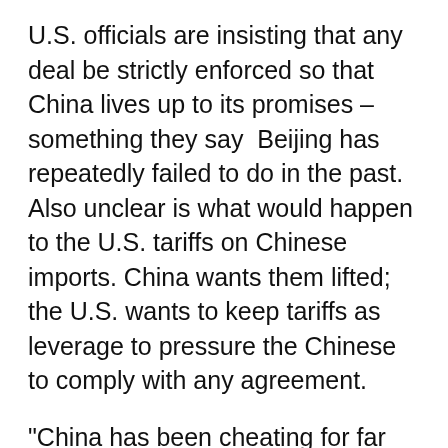U.S. officials are insisting that any deal be strictly enforced so that China lives up to its promises – something they say Beijing has repeatedly failed to do in the past. Also unclear is what would happen to the U.S. tariffs on Chinese imports. China wants them lifted; the U.S. wants to keep tariffs as leverage to pressure the Chinese to comply with any agreement.
“China has been cheating for far too long,” Rep. Kevin Brady of Texas, top Republican on the House Ways and Means Committee, told reporters. “Now is that moment in time to get the